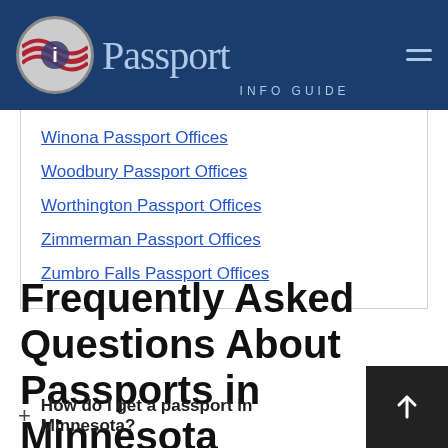Passport INFO GUIDE
Winona Passport Offices
Woodbury Passport Offices
Worthington Passport Offices
Zimmerman Passport Offices
Zumbro Falls Passport Offices
Frequently Asked Questions About Passports in Minnesota
+ How do I get a passport in Minnesota?